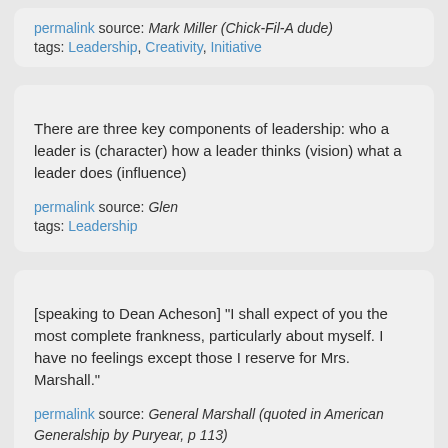permalink source: Mark Miller (Chick-Fil-A dude)
tags: Leadership, Creativity, Initiative
There are three key components of leadership: who a leader is (character) how a leader thinks (vision) what a leader does (influence)
permalink source: Glen
tags: Leadership
[speaking to Dean Acheson] "I shall expect of you the most complete frankness, particularly about myself. I have no feelings except those I reserve for Mrs. Marshall."
permalink source: General Marshall (quoted in American Generalship by Puryear, p 113)
tags: Leadership, Feedback